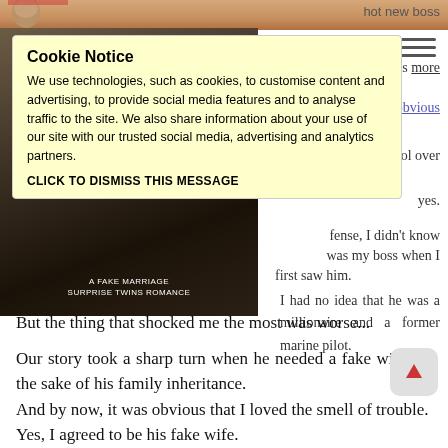[Figure (photo): Partial top image strip showing a person, cropped]
[Figure (photo): Book cover image with text 'A FAKE MARRIAGE SURPRISE TWINS ROMANCE' on dark background]
hot new boss
two steps more
ple, but it's obvious
ve zero control over
yes.
fense, I didn't know
was my boss when I
first saw him.
I had no idea that he was a millionaire and a former marine pilot.
Cookie Notice
We use technologies, such as cookies, to customise content and advertising, to provide social media features and to analyse traffic to the site. We also share information about your use of our site with our trusted social media, advertising and analytics partners.
CLICK TO DISMISS THIS MESSAGE
But the thing that shocked me the most was worse...
Our story took a sharp turn when he needed a fake wife for the sake of his family inheritance.
And by now, it was obvious that I loved the smell of trouble.
Yes, I agreed to be his fake wife.
But being pregnant with his baby wasn't part of the plan.
Neither was falling madly in love with the way he looked at me.
Step #4: Stop expecting to have a real family with my hot boss